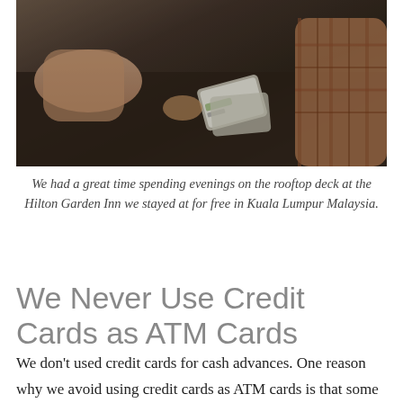[Figure (photo): Two people at a rooftop deck table, one wearing a plaid shirt, with cards/items on the table surface.]
We had a great time spending evenings on the rooftop deck at the Hilton Garden Inn we stayed at for free in Kuala Lumpur Malaysia.
We Never Use Credit Cards as ATM Cards
We don’t used credit cards for cash advances. One reason why we avoid using credit cards as ATM cards is that some credit cards would charge significant fees for any cash advance. It’s